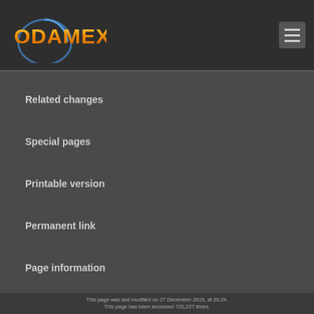[Figure (logo): Odamex logo with text in orange/gold gradient and blue circular design element]
Related changes
Special pages
Printable version
Permanent link
Page information
This page was last modified on 27 December 2019, at 20:24. This page has been accessed 725,227 times.